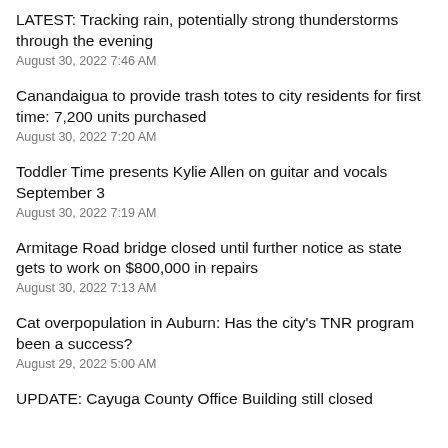LATEST: Tracking rain, potentially strong thunderstorms through the evening
August 30, 2022 7:46 AM
Canandaigua to provide trash totes to city residents for first time: 7,200 units purchased
August 30, 2022 7:20 AM
Toddler Time presents Kylie Allen on guitar and vocals September 3
August 30, 2022 7:19 AM
Armitage Road bridge closed until further notice as state gets to work on $800,000 in repairs
August 30, 2022 7:13 AM
Cat overpopulation in Auburn: Has the city's TNR program been a success?
August 29, 2022 5:00 AM
UPDATE: Cayuga County Office Building still closed